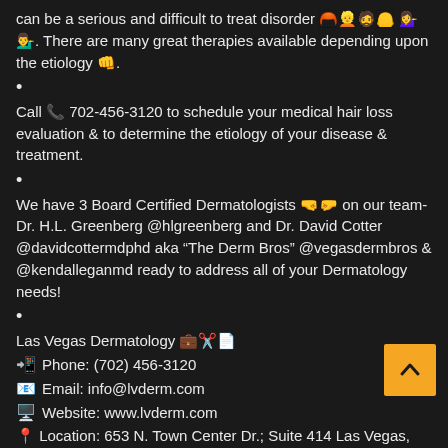can be a serious and difficult to treat disorder 🎭👩‍🦳👩‍🦲👱 🙆‍♀️🙆‍♂️. There are many great therapies available depending upon the etiology 👊.
•
Call 📞 702-456-3120 to schedule your medical hair loss evaluation & to determine the etiology of your disease & treatment.
•
We have 3 Board Certified Dermatologists 🤜🤛 on our team- Dr. H.L. Greenberg @hlgreenberg and Dr. David Cotter @davidcottermdphd aka "The Derm Bros" @vegasdermbros & @kendalleganmd ready to address all of your Dermatology needs!
•
Las Vegas Dermatology 💼✏️🔪
📲 Phone: (702) 456-3120
✉️ Email: info@lvderm.com
🖥️ Website: www.lvderm.com
📍 Location: 653 N. Town Center Dr.; Suite 414 Las Vegas, NV 89144